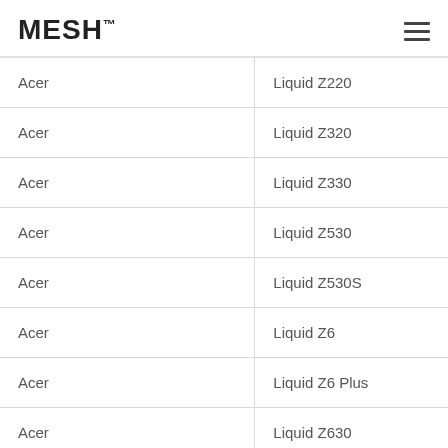MESH™
| Acer | Liquid Z220 |
| Acer | Liquid Z320 |
| Acer | Liquid Z330 |
| Acer | Liquid Z530 |
| Acer | Liquid Z530S |
| Acer | Liquid Z6 |
| Acer | Liquid Z6 Plus |
| Acer | Liquid Z630 |
| Acer | Liquid Z630S |